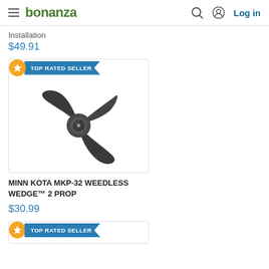bonanza — Log in
Installation
$49.91
[Figure (photo): Minn Kota MKP-32 Weedless Wedge 2 propeller — black two-blade propeller with hub, shown on white background. Has TOP RATED SELLER badge.]
MINN KOTA MKP-32 WEEDLESS WEDGE™ 2 PROP
$30.99
TOP RATED SELLER (partial card at bottom)